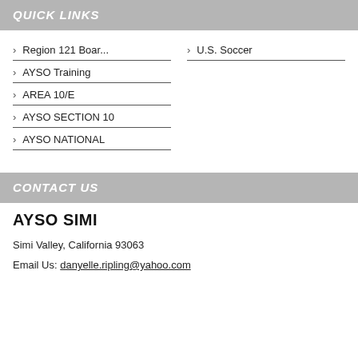QUICK LINKS
Region 121 Boar...
U.S. Soccer
AYSO Training
AREA 10/E
AYSO SECTION 10
AYSO NATIONAL
CONTACT US
AYSO SIMI
Simi Valley, California 93063
Email Us: danyelle.ripling@yahoo.com